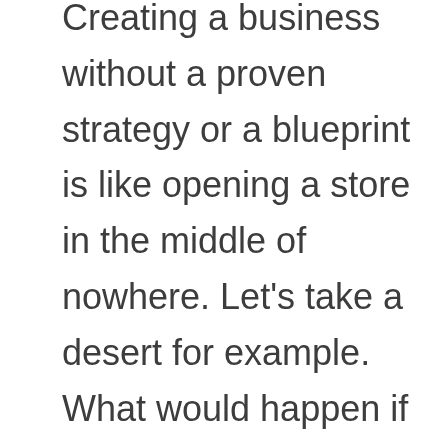Creating a business without a proven strategy or a blueprint is like opening a store in the middle of nowhere. Let's take a desert for example. What would happen if you opened a store in the most remote part of the Sahara Desert?

Do you think you would get any customers? I mean we are